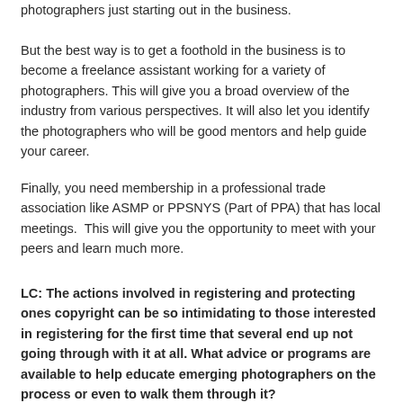photographers just starting out in the business.
But the best way is to get a foothold in the business is to become a freelance assistant working for a variety of photographers. This will give you a broad overview of the industry from various perspectives. It will also let you identify the photographers who will be good mentors and help guide your career.
Finally, you need membership in a professional trade association like ASMP or PPSNYS (Part of PPA) that has local meetings.  This will give you the opportunity to meet with your peers and learn much more.
LC: The actions involved in registering and protecting ones copyright can be so intimidating to those interested in registering for the first time that several end up not going through with it at all. What advice or programs are available to help educate emerging photographers on the process or even to walk them through it?